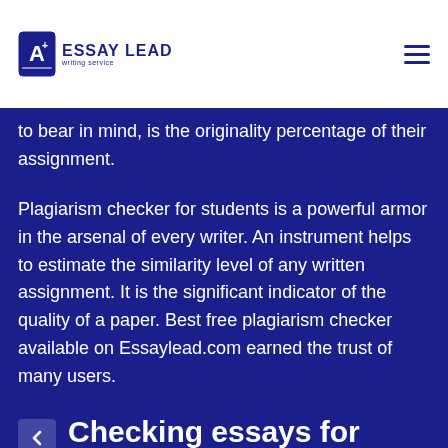ESSAY LEAD writing service
to bear in mind, is the originality percentage of their assignment.
Plagiarism checker for students is a powerful armor in the arsenal of every writer. An instrument helps to estimate the similarity level of any written assignment. It is the significant indicator of the quality of a paper. Best free plagiarism checker available on Essaylead.com earned the trust of many users.
Checking essays for plagiarism online has never been that easy!